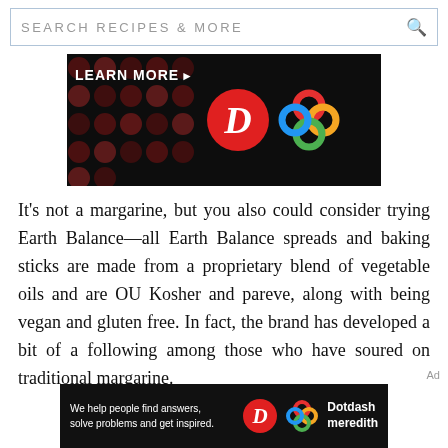SEARCH RECIPES & MORE
[Figure (screenshot): Dark advertisement banner with 'LEARN MORE' text on left over dark red dot pattern, a red circle with stylized D logo, and a colorful flower/knot logo on right]
It's not a margarine, but you also could consider trying Earth Balance—all Earth Balance spreads and baking sticks are made from a proprietary blend of vegetable oils and are OU Kosher and pareve, along with being vegan and gluten free. In fact, the brand has developed a bit of a following among those who have soured on traditional margarine.
[Figure (screenshot): Dark Dotdash Meredith advertisement banner: 'We help people find answers, solve problems and get inspired.' with D logo and Dotdash meredith brand name]